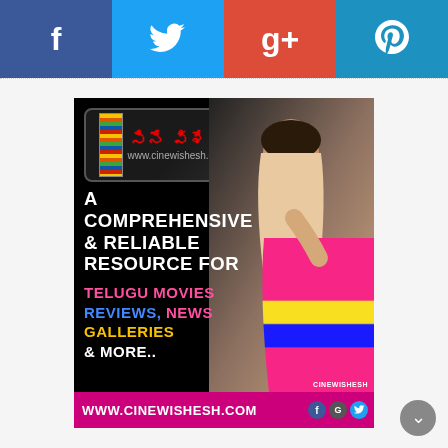[Figure (infographic): Social media share buttons row: Facebook (blue), Twitter (light blue), Google+ (red-orange), Pinterest (steel blue)]
[Figure (infographic): Cinewishesh advertisement banner with logo, actress photo, text 'A COMPREHENSIVE & RELIABLE RESOURCE FOR TELUGU MOVIES REVIEWS, NEWS GALLERIES & MORE..' and footer URL www.cinewishesh.com]